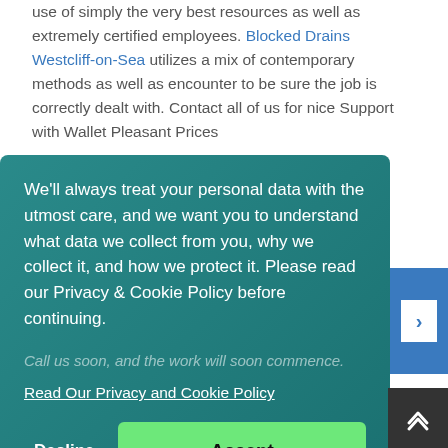use of simply the very best resources as well as extremely certified employees. Blocked Drains Westcliff-on-Sea utilizes a mix of contemporary methods as well as encounter to be sure the job is correctly dealt with. Contact all of us for nice Support with Wallet Pleasant Prices
Blocked Drains Westcliff-on-Sea is not your family drainage support. Blocked Drains Westcliff-on-Sea continues to be the ... iod of ... ance are ... alue. In
We'll always treat your personal data with the utmost care, and we want you to understand what data we collect from you, why we collect it, and how we protect it. Please read our Privacy & Cookie Policy before continuing.
Call us soon, and the work will soon commence.
Read Our Privacy and Cookie Policy
Decline
Accept
Home Buyers Drain Survey Southend